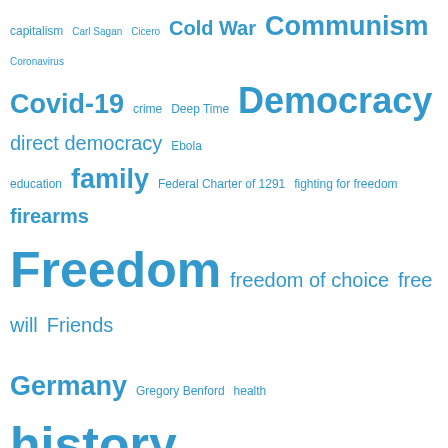[Figure (infographic): Word cloud with political, historical, and philosophical topics in varying font sizes, all in a steel blue color. Larger words indicate higher frequency/importance: Freedom, history, meaning of life, nature of government, Switzerland, WW2 are among the largest.]